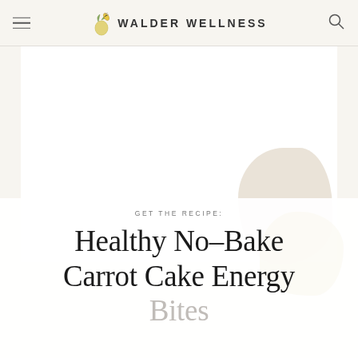WALDER WELLNESS
[Figure (photo): Large white/blank image area representing a food photo placeholder]
GET THE RECIPE:
Healthy No-Bake Carrot Cake Energy Bites